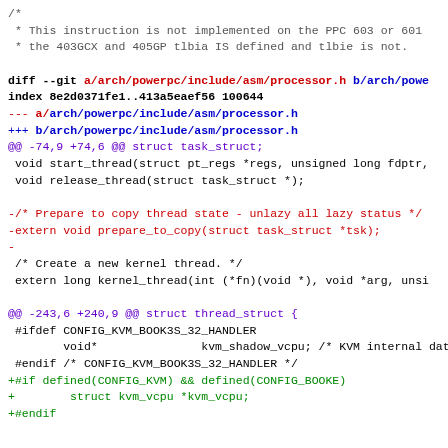/* 
 * This instruction is not implemented on the PPC 603 or 601
 * the 403GCX and 405GP tlbia IS defined and tlbie is not.

diff --git a/arch/powerpc/include/asm/processor.h b/arch/powe
index 8e2d0371fe1..413a5eaef56 100644
--- a/arch/powerpc/include/asm/processor.h
+++ b/arch/powerpc/include/asm/processor.h
@@ -74,9 +74,6 @@ struct task_struct;
 void start_thread(struct pt_regs *regs, unsigned long fdptr,
 void release_thread(struct task_struct *);

-/* Prepare to copy thread state - unlazy all lazy status */
-extern void prepare_to_copy(struct task_struct *tsk);
-
 /* Create a new kernel thread. */
 extern long kernel_thread(int (*fn)(void *), void *arg, unsi

@@ -243,6 +240,9 @@ struct thread_struct {
 #ifdef CONFIG_KVM_BOOK3S_32_HANDLER
         void*               kvm_shadow_vcpu; /* KVM internal data
 #endif /* CONFIG_KVM_BOOK3S_32_HANDLER */
+#if defined(CONFIG_KVM) && defined(CONFIG_BOOKE)
+         struct kvm_vcpu *kvm_vcpu;
+#endif